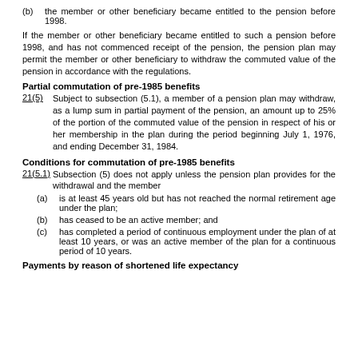(b) the member or other beneficiary became entitled to the pension before 1998.
If the member or other beneficiary became entitled to such a pension before 1998, and has not commenced receipt of the pension, the pension plan may permit the member or other beneficiary to withdraw the commuted value of the pension in accordance with the regulations.
Partial commutation of pre-1985 benefits
21(5)   Subject to subsection (5.1), a member of a pension plan may withdraw, as a lump sum in partial payment of the pension, an amount up to 25% of the portion of the commuted value of the pension in respect of his or her membership in the plan during the period beginning July 1, 1976, and ending December 31, 1984.
Conditions for commutation of pre-1985 benefits
21(5.1)   Subsection (5) does not apply unless the pension plan provides for the withdrawal and the member
(a) is at least 45 years old but has not reached the normal retirement age under the plan;
(b) has ceased to be an active member; and
(c) has completed a period of continuous employment under the plan of at least 10 years, or was an active member of the plan for a continuous period of 10 years.
Payments by reason of shortened life expectancy